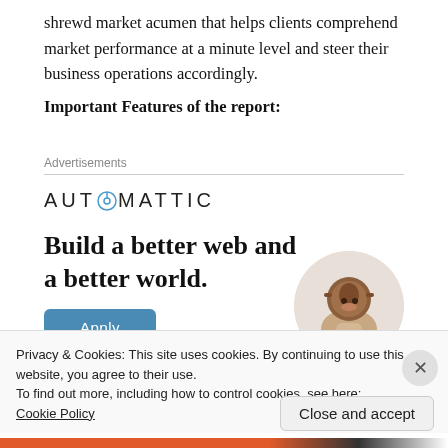shrewd market acumen that helps clients comprehend market performance at a minute level and steer their business operations accordingly.
Important Features of the report:
[Figure (other): Automattic advertisement banner with logo, tagline 'Build a better web and a better world.', an Apply button, and a photo of a person.]
Privacy & Cookies: This site uses cookies. By continuing to use this website, you agree to their use.
To find out more, including how to control cookies, see here: Cookie Policy
Close and accept